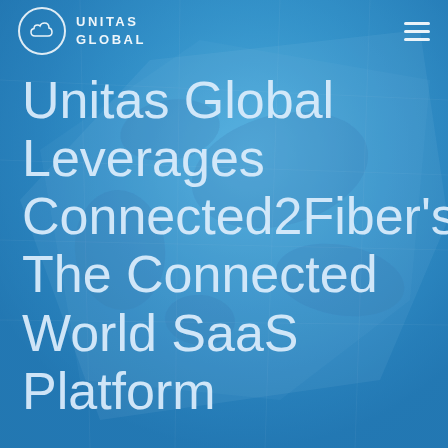[Figure (logo): Unitas Global logo: white circle with cloud icon, text UNITAS GLOBAL in white capitals]
Unitas Global Leverages Connected2Fiber's The Connected World SaaS Platform